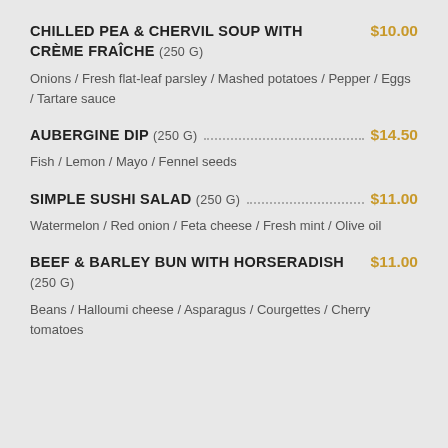CHILLED PEA & CHERVIL SOUP WITH CRÈME FRAÎCHE (250 G) $10.00
Onions / Fresh flat-leaf parsley / Mashed potatoes / Pepper / Eggs / Tartare sauce
AUBERGINE DIP (250 G) $14.50
Fish / Lemon / Mayo / Fennel seeds
SIMPLE SUSHI SALAD (250 G) $11.00
Watermelon / Red onion / Feta cheese / Fresh mint / Olive oil
BEEF & BARLEY BUN WITH HORSERADISH (250 G) $11.00
Beans / Halloumi cheese / Asparagus / Courgettes / Cherry tomatoes